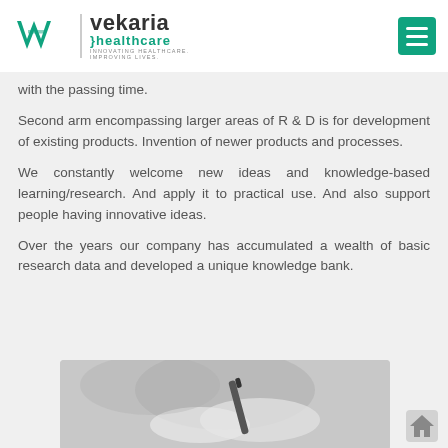Vekaria Healthcare — INNOVATING HEALTHCARE. IMPROVING LIVES.
with the passing time.
Second arm encompassing larger areas of R & D is for development of existing products. Invention of newer products and processes.
We constantly welcome new ideas and knowledge-based learning/research. And apply it to practical use. And also support people having innovative ideas.
Over the years our company has accumulated a wealth of basic research data and developed a unique knowledge bank.
[Figure (photo): Black and white close-up photo of a person in white gloves holding a medical pen or syringe instrument]